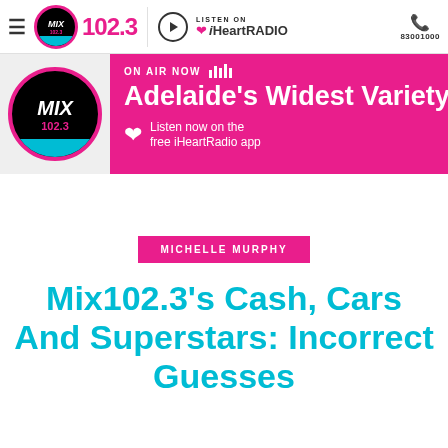MIX 102.3 | LISTEN ON iHeartRADIO | 8300 1000
[Figure (screenshot): MIX 102.3 radio station website header with pink banner showing 'ON AIR NOW' and 'Adelaide's Widest Variety Of...' with iHeartRadio listen prompt]
MICHELLE MURPHY
Mix102.3's Cash, Cars And Superstars: Incorrect Guesses